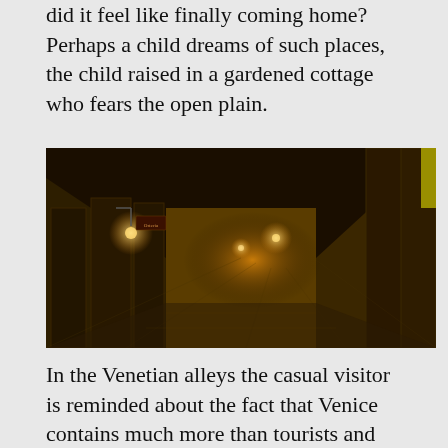did it feel like finally coming home? Perhaps a child dreams of such places, the child raised in a gardened cottage who fears the open plain.
[Figure (photo): A narrow Venetian alley at night, lit by warm golden street lamps. The alley is flanked by tall stone buildings with wooden shuttered doors. The wet cobblestone pavement reflects the warm light. A sign hangs from one of the buildings.]
In the Venetian alleys the casual visitor is reminded about the fact that Venice contains much more than tourists and millionaires, palaces and churches packed with art. There are also people who spend their daily lives in the city, with all it implies of cooking